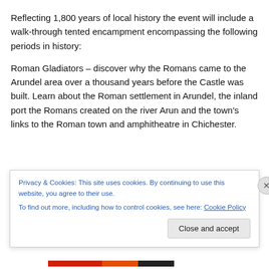Reflecting 1,800 years of local history the event will include a walk-through tented encampment encompassing the following periods in history:
Roman Gladiators – discover why the Romans came to the Arundel area over a thousand years before the Castle was built. Learn about the Roman settlement in Arundel, the inland port the Romans created on the river Arun and the town's links to the Roman town and amphitheatre in Chichester.
Normans – Meet fully armoured Knights and Crusaders
Privacy & Cookies: This site uses cookies. By continuing to use this website, you agree to their use.
To find out more, including how to control cookies, see here: Cookie Policy